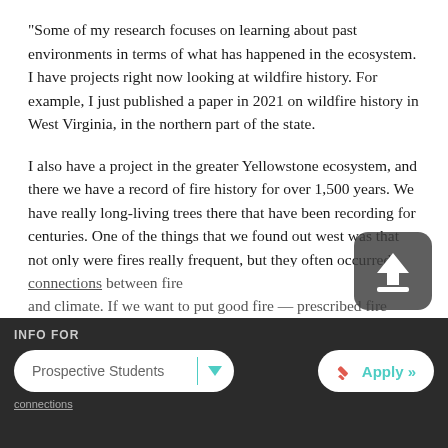“Some of my research focuses on learning about past environments in terms of what has happened in the ecosystem. I have projects right now looking at wildfire history. For example, I just published a paper in 2021 on wildfire history in West Virginia, in the northern part of the state.
I also have a project in the greater Yellowstone ecosystem, and there we have a record of fire history for over 1,500 years. We have really long-living trees there that have been recording for centuries. One of the things that we found out west was that not only were fires really frequent, but they often occurred during the really dry years. And that's not a really novel thing because the fuels get really dry, and that's when the fire can get.
INFO FOR
Prospective Students ▾
Apply »
...connections between fire and climate. If we want to put good fire — prescribed fire...